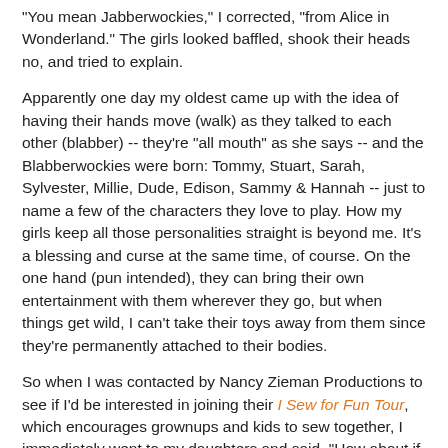"You mean Jabberwockies," I corrected, "from Alice in Wonderland." The girls looked baffled, shook their heads no, and tried to explain.
Apparently one day my oldest came up with the idea of having their hands move (walk) as they talked to each other (blabber) -- they're "all mouth" as she says -- and the Blabberwockies were born: Tommy, Stuart, Sarah, Sylvester, Millie, Dude, Edison, Sammy & Hannah -- just to name a few of the characters they love to play. How my girls keep all those personalities straight is beyond me. It's a blessing and curse at the same time, of course. On the one hand (pun intended), they can bring their own entertainment with them wherever they go, but when things get wild, I can't take their toys away from them since they're permanently attached to their bodies.
So when I was contacted by Nancy Zieman Productions to see if I'd be interested in joining their I Sew for Fun Tour, which encourages grownups and kids to sew together, I immediately went to my daughters and said, "How about if we teach the Blabberwockies to sew?"